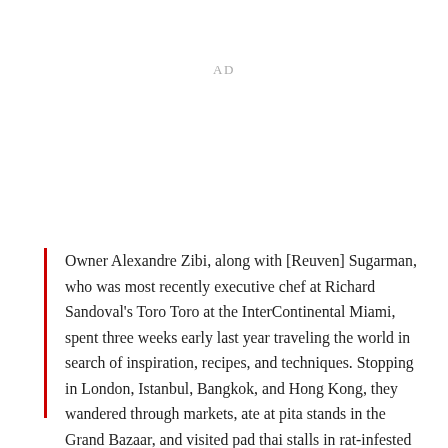AD
Owner Alexandre Zibi, along with [Reuven] Sugarman, who was most recently executive chef at Richard Sandoval's Toro Toro at the InterContinental Miami, spent three weeks early last year traveling the world in search of inspiration, recipes, and techniques. Stopping in London, Istanbul, Bangkok, and Hong Kong, they wandered through markets, ate at pita stands in the Grand Bazaar, and visited pad thai stalls in rat-infested back alleys.
T